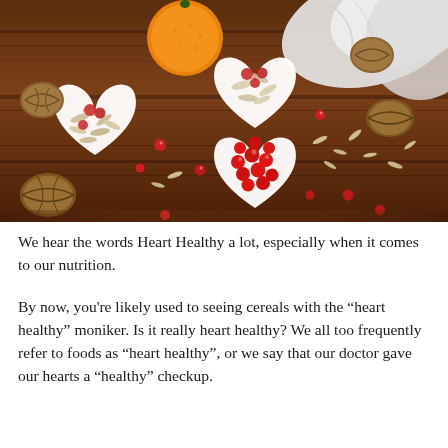[Figure (photo): Overhead photo on a dark wood surface showing heart-shaped white bowls filled with oats/grains, cranberries/red berries, and oat flakes, plus an orange, several walnuts, scattered red berries, and a white cloth napkin in the upper right corner.]
We hear the words Heart Healthy a lot, especially when it comes to our nutrition.
By now, you're likely used to seeing cereals with the “heart healthy” moniker. Is it really heart healthy? We all too frequently refer to foods as “heart healthy”, or we say that our doctor gave our hearts a “healthy” checkup.